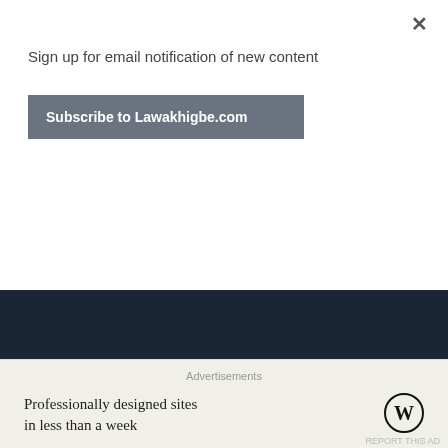×
Sign up for email notification of new content
Subscribe to Lawakhigbe.com
[Figure (screenshot): Dark blue-grey textarea/content area representing a webpage behind a modal overlay, with a partial heading visible at the bottom]
Advertisements
Professionally designed sites in less than a week
[Figure (logo): WordPress logo - circular W mark in black]